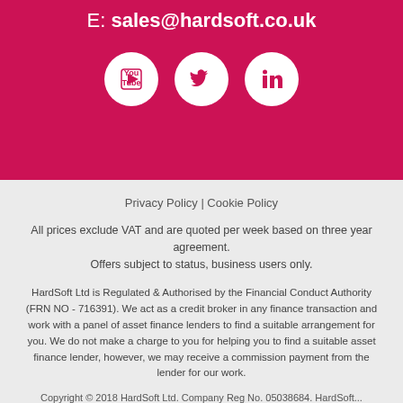E: sales@hardsoft.co.uk
[Figure (illustration): Three social media icon circles: YouTube, Twitter, LinkedIn on pink/magenta background]
Privacy Policy | Cookie Policy
All prices exclude VAT and are quoted per week based on three year agreement. Offers subject to status, business users only.
HardSoft Ltd is Regulated & Authorised by the Financial Conduct Authority (FRN NO - 716391). We act as a credit broker in any finance transaction and work with a panel of asset finance lenders to find a suitable arrangement for you. We do not make a charge to you for helping you to find a suitable asset finance lender, however, we may receive a commission payment from the lender for our work.
Copyright © 2018 HardSoft Ltd. Company Reg No. 05038684. HardSoft...